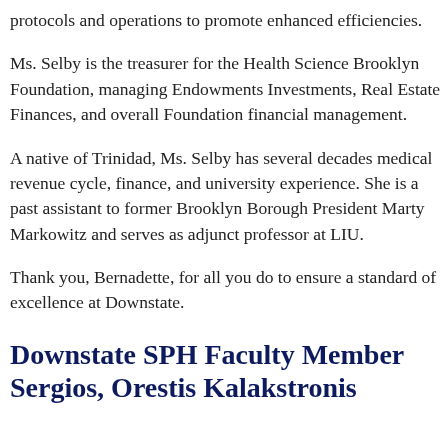protocols and operations to promote enhanced efficiencies.
Ms. Selby is the treasurer for the Health Science Brooklyn Foundation, managing Endowments Investments, Real Estate Finances, and overall Foundation financial management.
A native of Trinidad, Ms. Selby has several decades medical revenue cycle, finance, and university experience. She is a past assistant to former Brooklyn Borough President Marty Markowitz and serves as adjunct professor at LIU.
Thank you, Bernadette, for all you do to ensure a standard of excellence at Downstate.
Downstate SPH Faculty Member Sergios, Orestis Kalakatranis